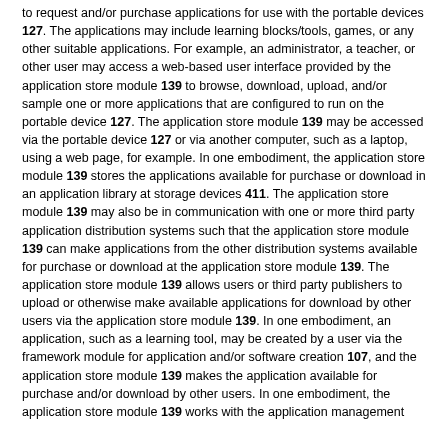to request and/or purchase applications for use with the portable devices 127. The applications may include learning blocks/tools, games, or any other suitable applications. For example, an administrator, a teacher, or other user may access a web-based user interface provided by the application store module 139 to browse, download, upload, and/or sample one or more applications that are configured to run on the portable device 127. The application store module 139 may be accessed via the portable device 127 or via another computer, such as a laptop, using a web page, for example. In one embodiment, the application store module 139 stores the applications available for purchase or download in an application library at storage devices 411. The application store module 139 may also be in communication with one or more third party application distribution systems such that the application store module 139 can make applications from the other distribution systems available for purchase or download at the application store module 139. The application store module 139 allows users or third party publishers to upload or otherwise make available applications for download by other users via the application store module 139. In one embodiment, an application, such as a learning tool, may be created by a user via the framework module for application and/or software creation 107, and the application store module 139 makes the application available for purchase and/or download by other users. In one embodiment, the application store module 139 works with the application management